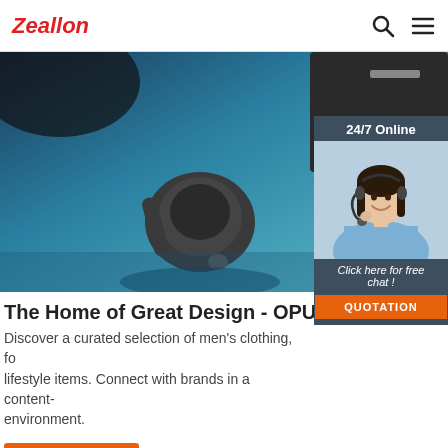Zeallon
[Figure (photo): Close-up photo of black wireless earbuds on a blue surface next to a smartphone]
[Figure (photo): Customer service representative with headset smiling, with 24/7 Online overlay and Click here for free chat / QUOTATION button]
The Home of Great Design - OPUMO
Discover a curated selection of men's clothing, fo... lifestyle items. Connect with brands in a content-... environment.
Get Price